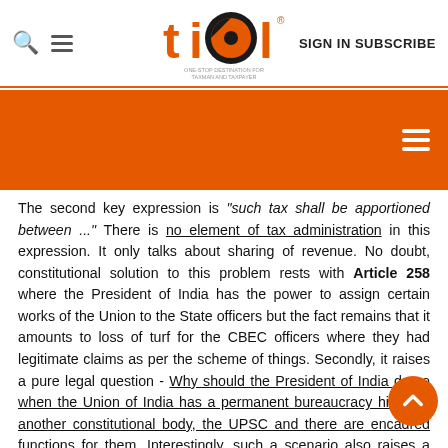tiol - ONE-STOP DESTINATION FOR TAXMAN AND TAXPAYER | SIGN IN SUBSCRIBE
[Figure (logo): TIOL logo - orange circular logo with tiol text and tagline 'ONE-STOP DESTINATION FOR TAXMAN AND TAXPAYER']
The second key expression is "such tax shall be apportioned between ..." There is no element of tax administration in this expression. It only talks about sharing of revenue. No doubt, constitutional solution to this problem rests with Article 258 where the President of India has the power to assign certain works of the Union to the State officers but the fact remains that it amounts to loss of turf for the CBEC officers where they had legitimate claims as per the scheme of things. Secondly, it raises a pure legal question - Why should the President of India do so when the Union of India has a permanent bureaucracy hired by another constitutional body, the UPSC and there are encadred functions for them. Interestingly, such a scenario also raises a major Constitutional issue - Can the Union of India gift its TAXING RIGHT to the States even if it desires so? Perhaps, NO. Separate taxing powers is one of